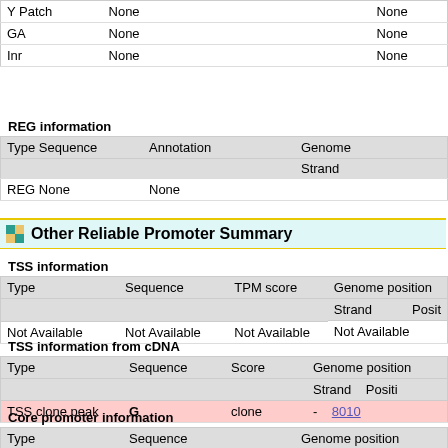|  |  |  |  |
| --- | --- | --- | --- |
| Y Patch | None |  | None |
| GA | None |  | None |
| Inr | None |  | None |
REG information
| Type Sequence | Annotation | Genome | Strand |
| --- | --- | --- | --- |
| REG None | None |  |  |
Other Reliable Promoter Summary
TSS information
| Type | Sequence | TPM score | Genome position | Strand | Posit |
| --- | --- | --- | --- | --- | --- |
| Not Available | Not Available | Not Available | Not Available |  |  |
TSS information from cDNA
| Type | Sequence | Score | Genome position | Strand | Positi |
| --- | --- | --- | --- | --- | --- |
| TSS clone peak | G | clone | - | 8010… |
Core promoter information
| Type | Sequence | Genome position | Strand | Start |
| --- | --- | --- | --- | --- |